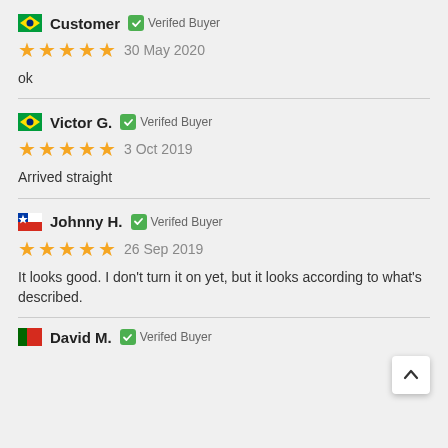Customer — Verified Buyer — 30 May 2020 — ★★★★★ — ok
Victor G. — Verified Buyer — 3 Oct 2019 — ★★★★★ — Arrived straight
Johnny H. — Verified Buyer — 26 Sep 2019 — ★★★★★ — It looks good. I don't turn it on yet, but it looks according to what's described.
David M. — Verified Buyer